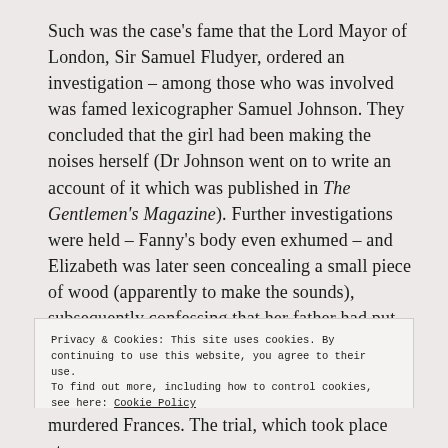Such was the case's fame that the Lord Mayor of London, Sir Samuel Fludyer, ordered an investigation – among those who was involved was famed lexicographer Samuel Johnson. They concluded that the girl had been making the noises herself (Dr Johnson went on to write an account of it which was published in The Gentlemen's Magazine). Further investigations were held – Fanny's body even exhumed – and Elizabeth was later seen concealing a small piece of wood (apparently to make the sounds), subsequently confessing that her father had put her up to it.
Privacy & Cookies: This site uses cookies. By continuing to use this website, you agree to their use.
To find out more, including how to control cookies, see here: Cookie Policy
Close and accept
murdered Frances. The trial, which took place at